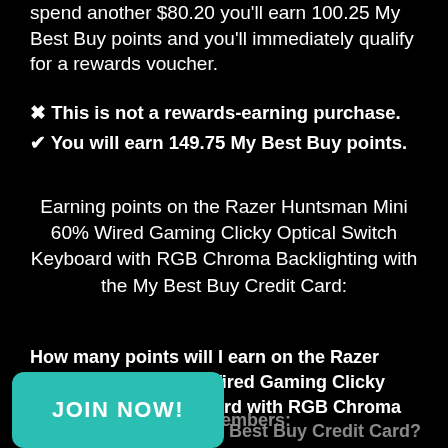spend another $80.20 you'll earn 100.25 My Best Buy points and you'll immediately qualify for a rewards voucher.
✖ This is not a rewards-earning purchase.
✔ You will earn 149.75 My Best Buy points.
Earning points on the Razer Huntsman Mini 60% Wired Gaming Clicky Optical Switch Keyboard with RGB Chroma Backlighting with the My Best Buy Credit Card:
How many points will I earn on the Razer Huntsman Mini 60% Wired Gaming Clicky Optical Switch Keyboard with RGB Chroma Backlighting with a My Best Buy Credit Card?
My Best Bu... y Elite Members:
JOIN NOW!